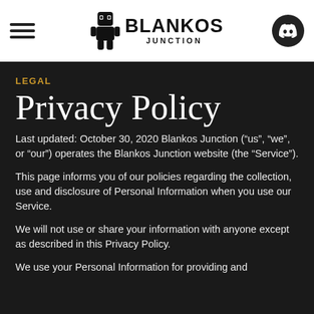Blankos Junction — navigation header with hamburger menu and Discord button
LEGAL
Privacy Policy
Last updated: October 30, 2020 Blankos Junction (“us”, “we”, or “our”) operates the Blankos Junction website (the “Service”).
This page informs you of our policies regarding the collection, use and disclosure of Personal Information when you use our Service.
We will not use or share your information with anyone except as described in this Privacy Policy.
We use your Personal Information for providing and